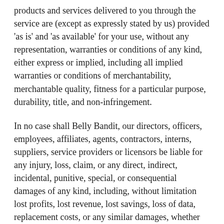products and services delivered to you through the service are (except as expressly stated by us) provided 'as is' and 'as available' for your use, without any representation, warranties or conditions of any kind, either express or implied, including all implied warranties or conditions of merchantability, merchantable quality, fitness for a particular purpose, durability, title, and non-infringement.
In no case shall Belly Bandit, our directors, officers, employees, affiliates, agents, contractors, interns, suppliers, service providers or licensors be liable for any injury, loss, claim, or any direct, indirect, incidental, punitive, special, or consequential damages of any kind, including, without limitation lost profits, lost revenue, lost savings, loss of data, replacement costs, or any similar damages, whether based in contract, tort (including negligence), strict liability or otherwise, arising from your use of any of the service or any products procured using the service, or for any other